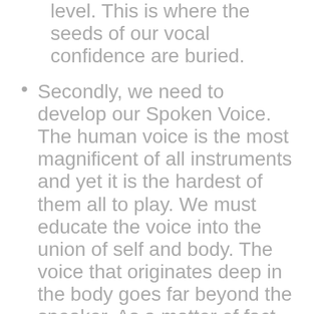level. This is where the seeds of our vocal confidence are buried.
Secondly, we need to develop our Spoken Voice. The human voice is the most magnificent of all instruments and yet it is the hardest of them all to play. We must educate the voice into the union of self and body. The voice that originates deep in the body goes far beyond the speaker. As a matter of fact, when we master the resonant qualities of our voice, the vibrations of our sound actually have the ability to create new thinking patterns in our audiences. This is the power of the spoken voice and is an influential and formidable tool for women when we speak. In this way, not